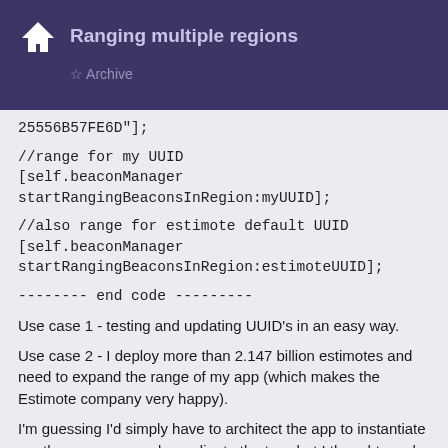Ranging multiple regions
Archive
25556B57FE6D"];
//range for my UUID
[self.beaconManager startRangingBeaconsInRegion:myUUID];
//also range for estimote default UUID
[self.beaconManager startRangingBeaconsInRegion:estimoteUUID];
-------- end code ---------
Use case 1 - testing and updating UUID's in an easy way.
Use case 2 - I deploy more than 2.147 billion estimotes and need to expand the range of my app (which makes the Estimote company very happy).
I'm guessing I'd simply have to architect the app to instantiate another manager and coordinate the two, but I thought maybe there was a simple way to get it done?